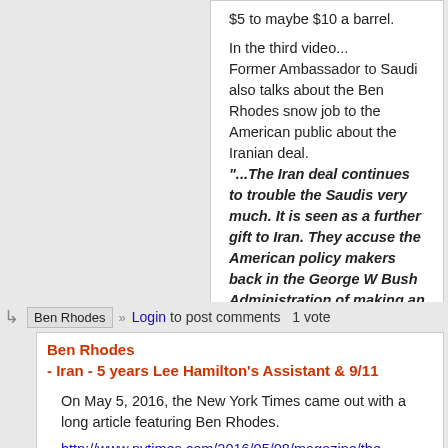$5 to maybe $10 a barrel.
In the third video...
Former Ambassador to Saudi also talks about the Ben Rhodes snow job to the American public about the Iranian deal.
"...The Iran deal continues to trouble the Saudis very much. It is seen as a further gift to Iran. They accuse the American policy makers back in the George W Bush Administration of making an enormous gift to Iran by invading Iraq...."
Personally, I had never realized that the Saudis resent Bush for invading Iraq.
TomT on Thu, 05/12/2016 - 12:33pm.
Login to post comments   1 vote
Ben Rhodes - Iran - 5 years Lee Hamilton's Assistant & 9/11
On May 5, 2016, the New York Times came out with a long article featuring Ben Rhodes.
http://www.nytimes.com/2016/05/08/magazine/the-